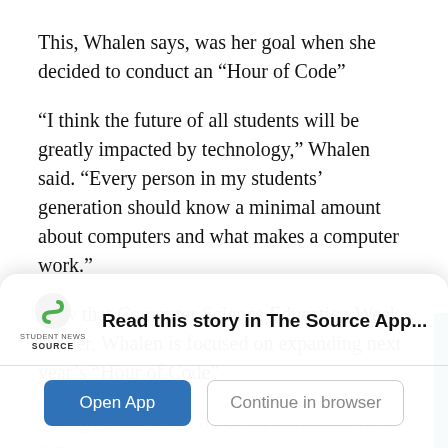This, Whalen says, was her goal when she decided to conduct an “Hour of Code”
“I think the future of all students will be greatly impacted by technology,” Whalen said. “Every person in my students’ generation should know a minimal amount about computers and what makes a computer work.”
Now that Computer Science Education Week is over, Whalen is focused on expanding next year’s “Hour of Code”
“My goal would be for every student to have some
[Figure (other): App promotion overlay card with Student News Source logo, bold text 'Read this story in The Source App...', an 'Open App' button (blue), and a 'Continue in browser' button (outlined). A teal strip is visible on the right edge.]